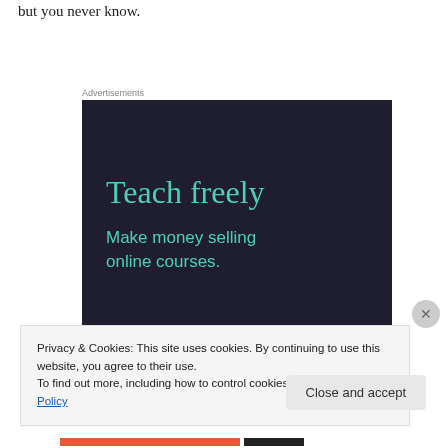but you never know.
Advertisements
[Figure (illustration): Advertisement banner with dark navy background showing 'Teach freely' in teal large serif font and 'Make money selling online courses.' in teal sans-serif font below.]
Privacy & Cookies: This site uses cookies. By continuing to use this website, you agree to their use.
To find out more, including how to control cookies, see here: Cookie Policy
Close and accept